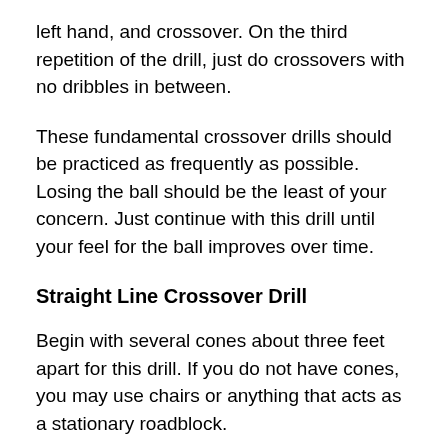left hand, and crossover. On the third repetition of the drill, just do crossovers with no dribbles in between.
These fundamental crossover drills should be practiced as frequently as possible. Losing the ball should be the least of your concern. Just continue with this drill until your feel for the ball improves over time.
Straight Line Crossover Drill
Begin with several cones about three feet apart for this drill. If you do not have cones, you may use chairs or anything that acts as a stationary roadblock.